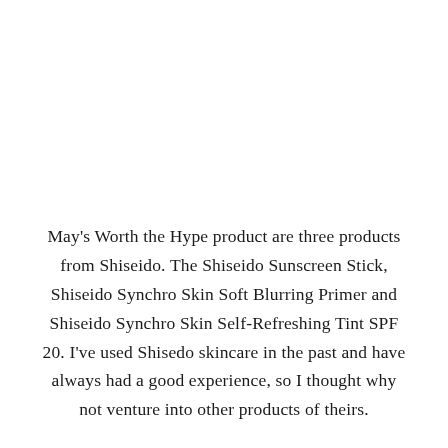May's Worth the Hype product are three products from Shiseido. The Shiseido Sunscreen Stick, Shiseido Synchro Skin Soft Blurring Primer and Shiseido Synchro Skin Self-Refreshing Tint SPF 20. I've used Shisedo skincare in the past and have always had a good experience, so I thought why not venture into other products of theirs.